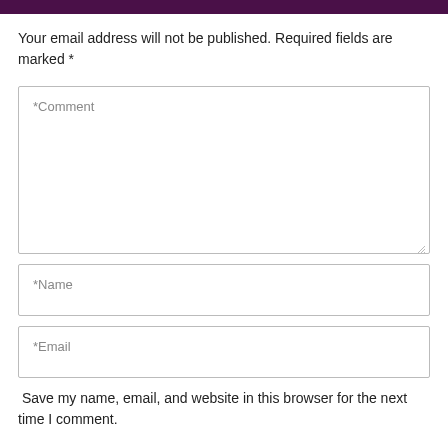Your email address will not be published. Required fields are marked *
[Figure (other): Comment text area input field with placeholder '*Comment' and resize handle]
[Figure (other): Name input field with placeholder '*Name']
[Figure (other): Email input field with placeholder '*Email']
Save my name, email, and website in this browser for the next time I comment.